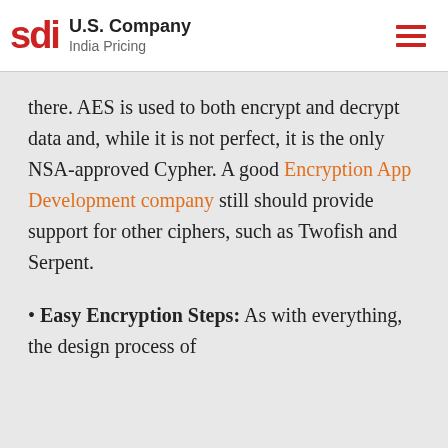sdi U.S. Company India Pricing
there. AES is used to both encrypt and decrypt data and, while it is not perfect, it is the only NSA-approved Cypher. A good Encryption App Development company still should provide support for other ciphers, such as Twofish and Serpent.
• Easy Encryption Steps: As with everything, the design process of